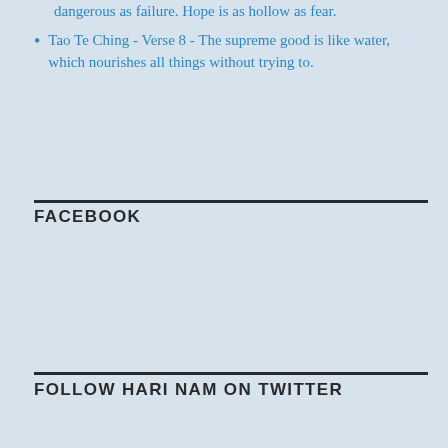dangerous as failure. Hope is as hollow as fear.
Tao Te Ching - Verse 8 - The supreme good is like water, which nourishes all things without trying to.
FACEBOOK
FOLLOW HARI NAM ON TWITTER